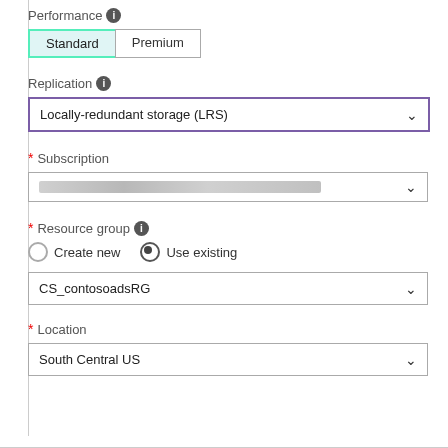Performance (info)
[Figure (screenshot): Toggle button group with 'Standard' (active/selected, light blue background) and 'Premium' options]
Replication (info)
[Figure (screenshot): Dropdown select box with purple border showing 'Locally-redundant storage (LRS)']
* Subscription
[Figure (screenshot): Dropdown select box with blurred/redacted content]
* Resource group (info)
[Figure (screenshot): Radio buttons: 'Create new' (unselected) and 'Use existing' (selected), followed by dropdown showing 'CS_contosoadsRG']
* Location
[Figure (screenshot): Dropdown select box showing 'South Central US']